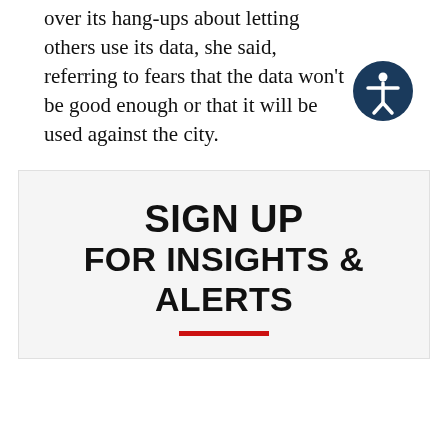over its hang-ups about letting others use its data, she said, referring to fears that the data won't be good enough or that it will be used against the city.
“Why is that so hard for us?” Henderson said. “We have to take a risk and a leap of faith that this will help benefit our citizens.”
Gary Anglebrandt, Crain’s Detroit Business.
SIGN UP FOR INSIGHTS & ALERTS